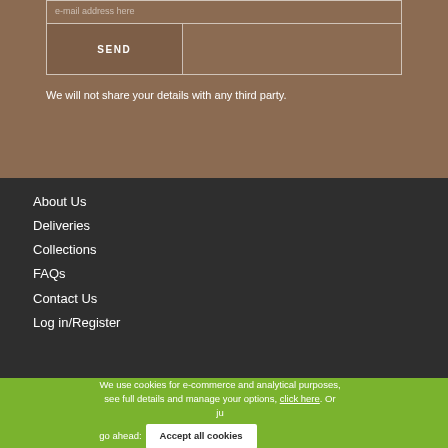e-mail address here
SEND
We will not share your details with any third party.
About Us
Deliveries
Collections
FAQs
Contact Us
Log in/Register
We use cookies for e-commerce and analytical purposes, see full details and manage your options, click here. Or just go ahead: Accept all cookies